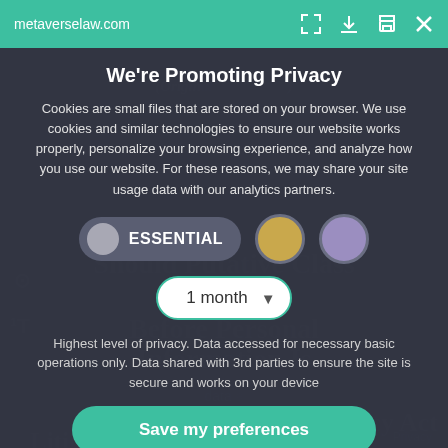metaverselaw.com
[Figure (screenshot): Cookie consent modal overlay on metaverselaw.com legal website. Shows a dark privacy preference dialog with title 'We're Promoting Privacy', explanatory text about cookies, an ESSENTIAL toggle pill, two colored circles (gold and purple), a '1 month' dropdown selector, a description of highest privacy level, and a 'Save my preferences' green button. Behind the modal, blurred text from the underlying article is visible.]
We're Promoting Privacy
Cookies are small files that are stored on your browser. We use cookies and similar technologies to ensure our website works properly, personalize your browsing experience, and analyze how you use our website. For these reasons, we may share your site usage data with our analytics partners.
ESSENTIAL
1 month
Highest level of privacy. Data accessed for necessary basic operations only. Data shared with 3rd parties to ensure the site is secure and works on your device
Save my preferences